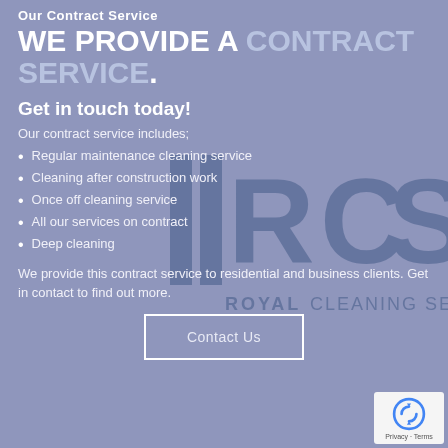Our Contract Service
WE PROVIDE A CONTRACT SERVICE.
Get in touch today!
Our contract service includes;
Regular maintenance cleaning service
Cleaning after construction work
Once off cleaning service
All our services on contract
Deep cleaning
[Figure (logo): Royal Cleaning Services watermark logo with 'IRCS' letters and 'ROYAL CLEANING SERVICES' text below]
We provide this contract service to residential and business clients. Get in contact to find out more.
Contact Us